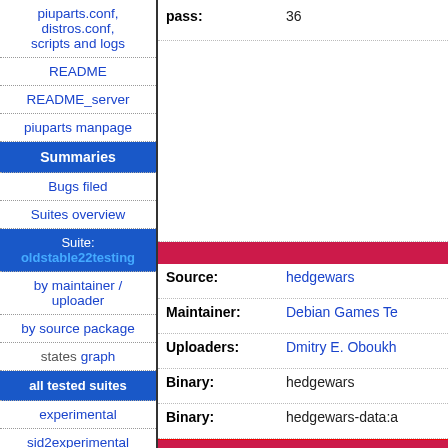piuparts.conf, distros.conf, scripts and logs
README
README_server
piuparts manpage
Summaries
Bugs filed
Suites overview
Suite: oldstable22testing
by maintainer / uploader
by source package
states graph
all tested suites
experimental
sid2experimental
sid
| Field | Value |
| --- | --- |
| pass: | 36 |
| Source: | hedgewars |
| Maintainer: | Debian Games Te |
| Uploaders: | Dmitry E. Oboukh |
| Binary: | hedgewars |
| Binary: | hedgewars-data:a |
liba
| Field | Value |
| --- | --- |
| Source: | libanyevent-aggressividle |